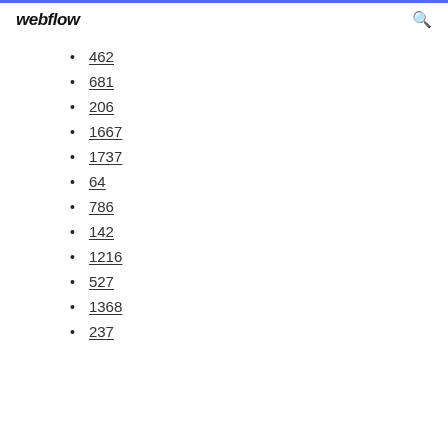webflow
462
681
206
1667
1737
64
786
142
1216
527
1368
237